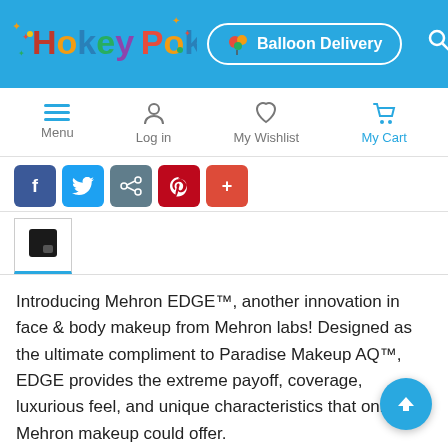[Figure (screenshot): HokeyPokey website header with colorful logo, Balloon Delivery button, and search icon on blue background]
[Figure (screenshot): Navigation bar with Menu (hamburger), Log in (person icon), My Wishlist (heart icon), My Cart (cart icon)]
[Figure (screenshot): Social sharing buttons: Facebook (blue), Twitter (light blue), Share (grey), Pinterest (red), Google+ (red-orange)]
[Figure (screenshot): Active product tab with dark square icon]
Introducing Mehron EDGE™, another innovation in face & body makeup from Mehron labs! Designed as the ultimate compliment to Paradise Makeup AQ™, EDGE provides the extreme payoff, coverage, luxurious feel, and unique characteristics that only Mehron makeup could offer.
Mehron EDGE is water activated and offers extremely bold payoff, dramatically opaque coverage and unique application characteristics unlike any other product on the market. E is perfect for the novice artist and the most experienced